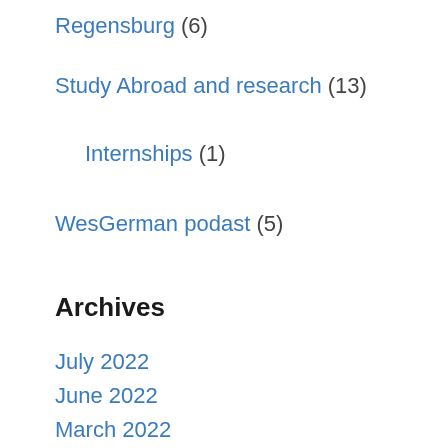Regensburg (6)
Study Abroad and research (13)
Internships (1)
WesGerman podast (5)
Archives
July 2022
June 2022
March 2022
February 2022
November 2021
October 2021